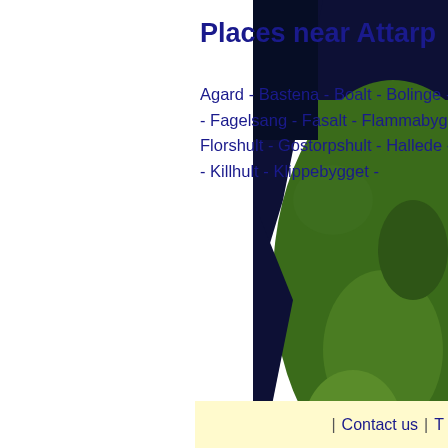Places near Attarp
Agard - Bastena - Boalt - Bolinge - Drakabygget - Fagelsang - Fasalt - Flammabygget - Floalt - Florshult - Gostorpshult - Hallede - Harbackshult - Killhult - Klippebygget -
[Figure (map): Satellite map image showing a coastal area with green terrain and dark water, partially visible on the right side of the page. Lat: 56.35, TAGEO.com watermark.]
KML Export fo
Google maps v
Google links fo
| Contact us | T